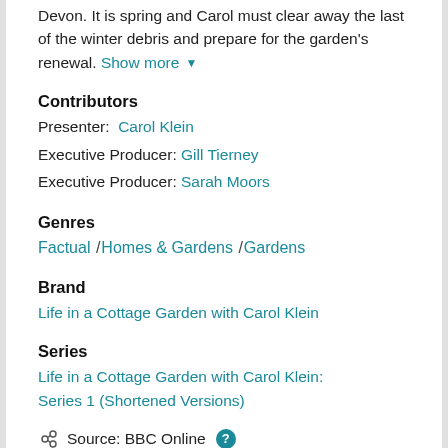Devon. It is spring and Carol must clear away the last of the winter debris and prepare for the garden's renewal. Show more ▼
Contributors
Presenter: Carol Klein
Executive Producer: Gill Tierney
Executive Producer: Sarah Moors
Genres
Factual / Homes & Gardens / Gardens
Brand
Life in a Cottage Garden with Carol Klein
Series
Life in a Cottage Garden with Carol Klein: Series 1 (Shortened Versions)
Source: BBC Online ?